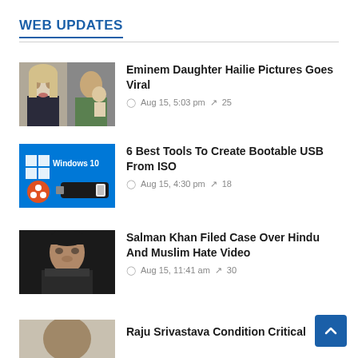WEB UPDATES
Eminem Daughter Hailie Pictures Goes Viral — Aug 15, 5:03 pm — 25
6 Best Tools To Create Bootable USB From ISO — Aug 15, 4:30 pm — 18
Salman Khan Filed Case Over Hindu And Muslim Hate Video — Aug 15, 11:41 am — 30
Raju Srivastava Condition Critical